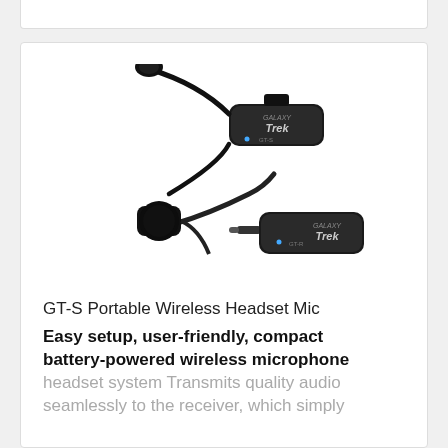[Figure (photo): GT-S Portable Wireless Headset Microphone system showing two black devices: a headset transmitter with boom microphone and neck-worn design (Galaxy Trek branding), and a small dongle receiver with 3.5mm jack plug (Galaxy Trek GT-R branding), both in black.]
GT-S Portable Wireless Headset Mic
Easy setup, user-friendly, compact battery-powered wireless microphone headset system Transmits quality audio seamlessly to the receiver, which simply